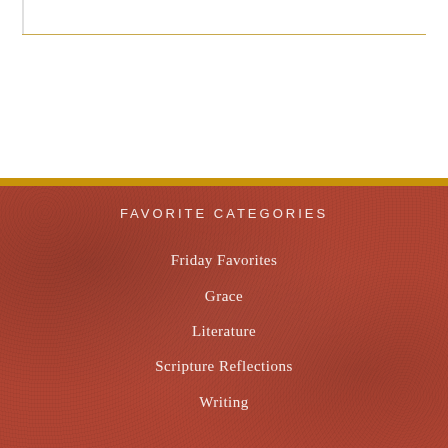FAVORITE CATEGORIES
Friday Favorites
Grace
Literature
Scripture Reflections
Writing